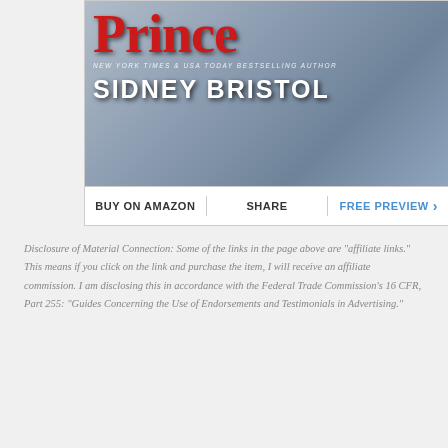[Figure (illustration): Book cover for a romance novel showing 'PRINCE' in large red decorative letters and 'SIDNEY BRISTOL' in large white bold letters, with subtitle text 'NEW YORK TIMES & USA TODAY BESTSELLING AUTHOR'. Background shows a man in a blue shirt.]
BUY ON AMAZON | SHARE | FREE PREVIEW >
Disclosure of Material Connection: Some of the links in the page above are "affiliate links." This means if you click on the link and purchase the item, I will receive an affiliate commission. I am disclosing this in accordance with the Federal Trade Commission's 16 CFR, Part 255: "Guides Concerning the Use of Endorsements and Testimonials in Advertising."